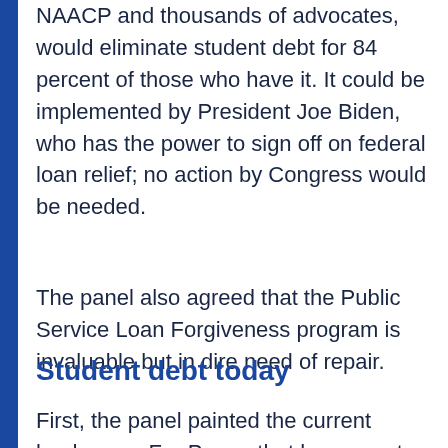NAACP and thousands of advocates, would eliminate student debt for 84 percent of those who have it. It could be implemented by President Joe Biden, who has the power to sign off on federal loan relief; no action by Congress would be needed.
The panel also agreed that the Public Service Loan Forgiveness program is invaluable but in dire need of repair.
Student debt today
First, the panel painted the current landscape. For Perez, that has meant